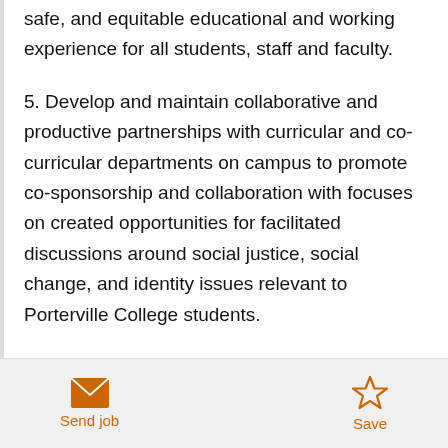safe, and equitable educational and working experience for all students, staff and faculty.
5. Develop and maintain collaborative and productive partnerships with curricular and co-curricular departments on campus to promote co-sponsorship and collaboration with focuses on created opportunities for facilitated discussions around social justice, social change, and identity issues relevant to Porterville College students.
6. Develop and oversee the organizational
Send job   Save